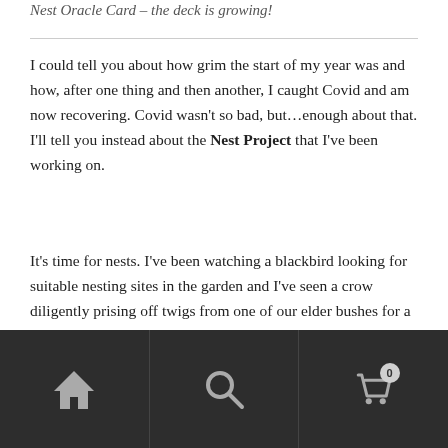Nest Oracle Card – the deck is growing!
I could tell you about how grim the start of my year was and how, after one thing and then another, I caught Covid and am now recovering. Covid wasn't so bad, but…enough about that. I'll tell you instead about the Nest Project that I've been working on.
It's time for nests. I've been watching a blackbird looking for suitable nesting sites in the garden and I've seen a crow diligently prising off twigs from one of our elder bushes for a nest in a tall tree a few doors down. I love finding nests from previous seasons, their intricacy intrigues me.
Navigation bar with home, search, and cart (0) icons